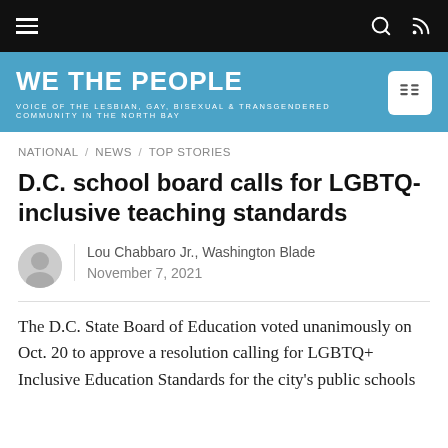WE THE PEOPLE — VOICE OF THE LESBIAN, GAY, BISEXUAL & TRANSGENDERED COMMUNITY IN THE NORTH BAY
NATIONAL / NEWS / TOP STORIES
D.C. school board calls for LGBTQ-inclusive teaching standards
Lou Chabbaro Jr., Washington Blade
November 7, 2021
The D.C. State Board of Education voted unanimously on Oct. 20 to approve a resolution calling for LGBTQ+ Inclusive Education Standards for the city's public schools